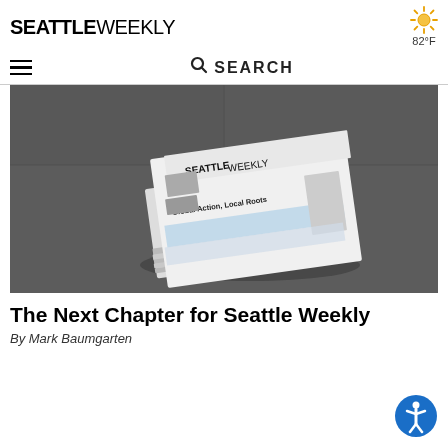SEATTLE WEEKLY
82°F
SEARCH
[Figure (photo): A stack of Seattle Weekly newspapers lying on a dark concrete floor. The top issue shows the headline 'Global Action, Local Roots' with Seattle Weekly masthead visible.]
The Next Chapter for Seattle Weekly
By Mark Baumgarten